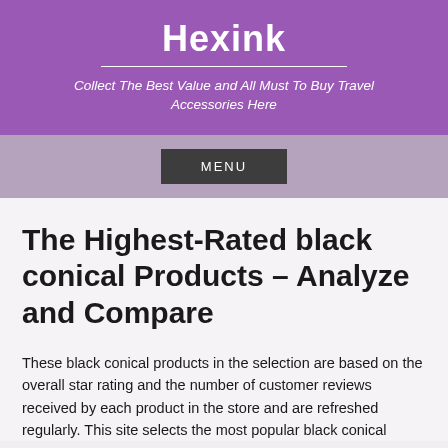Hexink
Collect The Best Value and All Must To Buy Travel Accessories Here
The Highest-Rated black conical Products – Analyze and Compare
These black conical products in the selection are based on the overall star rating and the number of customer reviews received by each product in the store and are refreshed regularly. This site selects the most popular black conical